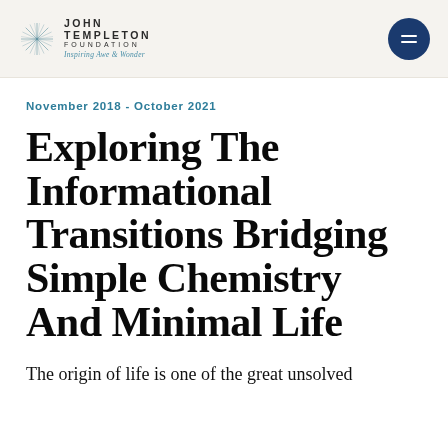JOHN TEMPLETON FOUNDATION — Inspiring Awe & Wonder
November 2018 - October 2021
Exploring The Informational Transitions Bridging Simple Chemistry And Minimal Life
The origin of life is one of the great unsolved